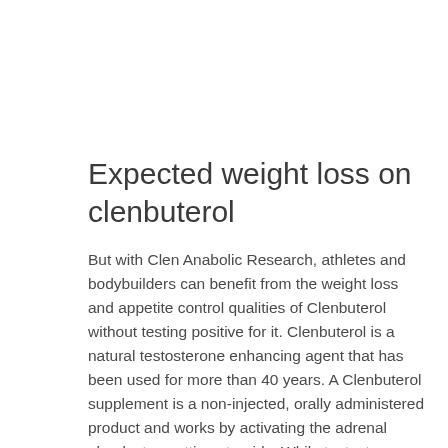Expected weight loss on clenbuterol
But with Clen Anabolic Research, athletes and bodybuilders can benefit from the weight loss and appetite control qualities of Clenbuterol without testing positive for it. Clenbuterol is a natural testosterone enhancing agent that has been used for more than 40 years. A Clenbuterol supplement is a non-injected, orally administered product and works by activating the adrenal glands, top cutting steroids. While testosterone levels remain